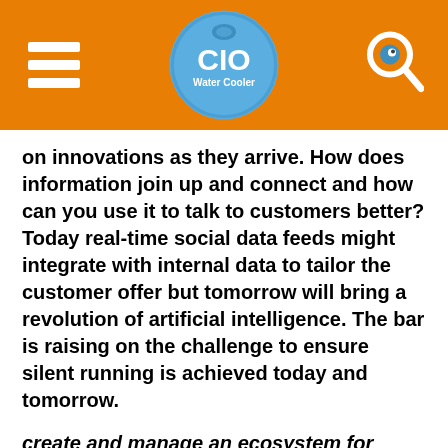[Figure (logo): CIO Water Cooler website header with orange background, hamburger menu icon on left, CIO Water Cooler circular logo in center, and search icon on right]
on innovations as they arrive. How does information join up and connect and how can you use it to talk to customers better? Today real-time social data feeds might integrate with internal data to tailor the customer offer but tomorrow will bring a revolution of artificial intelligence. The bar is raising on the challenge to ensure silent running is achieved today and tomorrow.
create and manage an ecosystem for success and get started
Find the people and partners with skills and abilities to make sense of all this and ensure that information management is your differentiator.